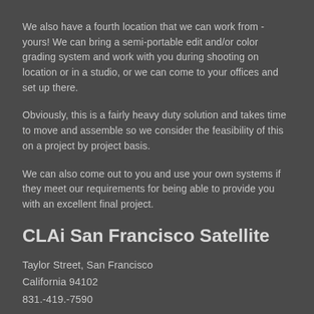We also have a fourth location that we can work from - yours! We can bring a semi-portable edit and/or color grading system and work with you during shooting on location or in a studio, or we can come to your offices and set up there.
Obviously, this is a fairly heavy duty solution and takes time to move and assemble so we consider the feasibility of this on a project by project basis.
We can also come out to you and use your own systems if they meet our requirements for being able to provide you with an excellent final project.
CLAi San Francisco Satellite
Taylor Street, San Francisco
California 94102
831.-419.-7590
CLAi San Jose Satellite